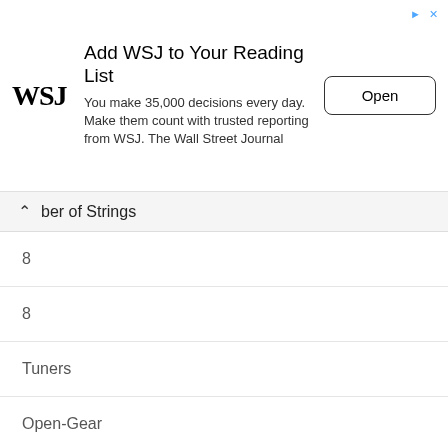[Figure (other): WSJ advertisement banner: Add WSJ to Your Reading List. WSJ logo on left. Text: You make 35,000 decisions every day. Make them count with trusted reporting from WSJ. The Wall Street Journal. Open button on right.]
Number of Strings
| 8 |
| 8 |
| Tuners |
| Open-Gear |
| Die-cast |
| Scale Length |
| 13 4/5" |